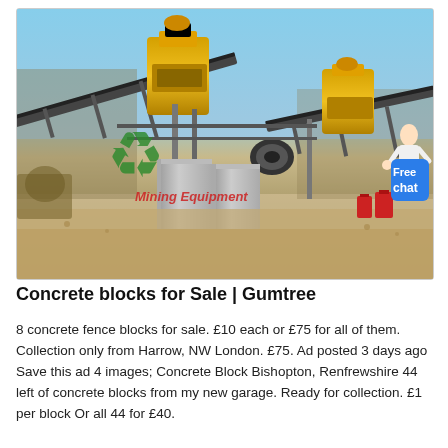[Figure (photo): Industrial mining/quarry site with yellow conveyor belts and crushing machinery. Large concrete blocks visible in foreground. A recycling logo and 'Mining Equipment' text watermark overlaid on the image. A 'Free chat' blue button overlaid at the top right. Red barrels visible in background right.]
Concrete blocks for Sale | Gumtree
8 concrete fence blocks for sale. £10 each or £75 for all of them. Collection only from Harrow, NW London. £75. Ad posted 3 days ago Save this ad 4 images; Concrete Block Bishopton, Renfrewshire 44 left of concrete blocks from my new garage. Ready for collection. £1 per block Or all 44 for £40.